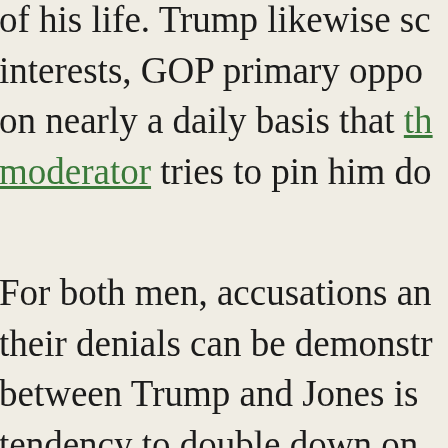of his life. Trump likewise sc interests, GOP primary oppo on nearly a daily basis that th moderator tries to pin him do
For both men, accusations an their denials can be demonstr between Trump and Jones is tendency to double down on own false statements by offer effective deflection away fro speak the truth. Whenever I h mind flashes back to the so-c tells his people: “I’ve never l
A Notable, Important Differ